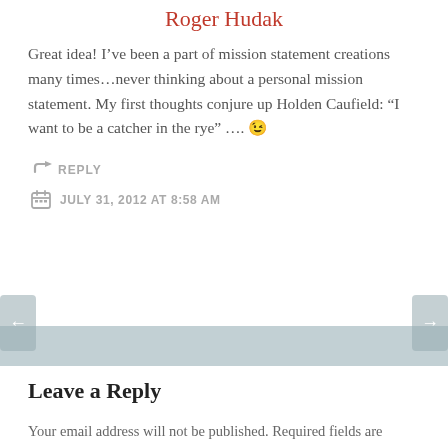Roger Hudak
Great idea! I’ve been a part of mission statement creations many times…never thinking about a personal mission statement. My first thoughts conjure up Holden Caufield: “I want to be a catcher in the rye” …. 😉
REPLY
JULY 31, 2012 AT 8:58 AM
Leave a Reply
Your email address will not be published. Required fields are marked *